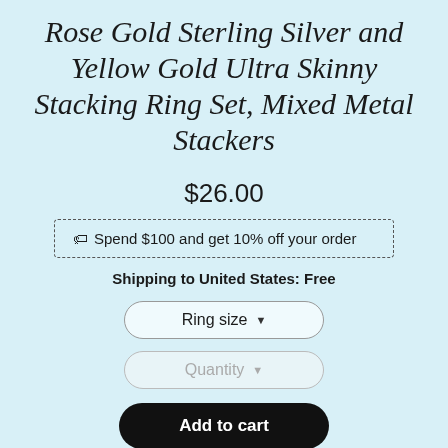Rose Gold Sterling Silver and Yellow Gold Ultra Skinny Stacking Ring Set, Mixed Metal Stackers
$26.00
🏷 Spend $100 and get 10% off your order
Shipping to United States: Free
Ring size ▼
Quantity ▼
Add to cart